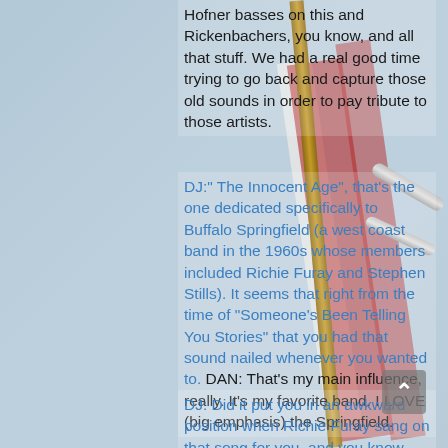Hofner basses on this and Rickenbachers, you know, and all that stuff. We had a real good time trying to go back and capture those old sounds in order to pay tribute to those artists.
DJ:" The Innocent Age", that's the one dedicated specifically to Buffalo Springfield (a west coast band in the 1960s whose members included Richie Furay and Stephen Stills). It seems that right from the time of "Someone's Been Telling You Stories" that you had that sound nailed whenever you wanted to.
DAN: That's my main influence, really. It's my favorite band. I LOVE (big emphasis) the Springfield.
DJ: Did it put you in an awkward position when Richie Furay sang on that song for you, and you know Stills